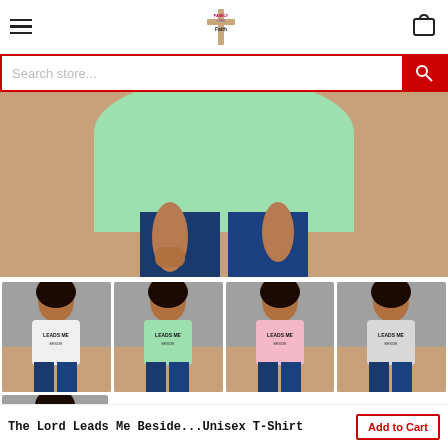Family Thru Faith store header with hamburger menu, logo, and cart icon
Search store...
[Figure (photo): Close-up of person wearing a mint green t-shirt with jeans, cropped to show torso and hands]
[Figure (photo): Woman wearing white t-shirt with 'Leads Me' text on grey/tan background]
[Figure (photo): Woman wearing mint green t-shirt with 'Leads Me' text on grey/tan background]
[Figure (photo): Woman wearing pink t-shirt with 'Leads Me' text on grey/tan background]
[Figure (photo): Woman wearing light grey t-shirt with 'Leads Me' text on grey/tan background]
[Figure (photo): Woman wearing white t-shirt with 'Leads Me' text on grey/tan background]
The Lord Leads Me Beside...Unisex T-Shirt
Add to Cart